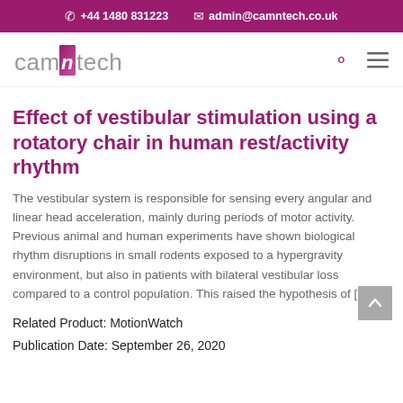+44 1480 831223  admin@camntech.co.uk
[Figure (logo): CamNtech logo with stylized N in purple/pink gradient]
Effect of vestibular stimulation using a rotatory chair in human rest/activity rhythm
The vestibular system is responsible for sensing every angular and linear head acceleration, mainly during periods of motor activity. Previous animal and human experiments have shown biological rhythm disruptions in small rodents exposed to a hypergravity environment, but also in patients with bilateral vestibular loss compared to a control population. This raised the hypothesis of [...]
Related Product: MotionWatch
Publication Date: September 26, 2020